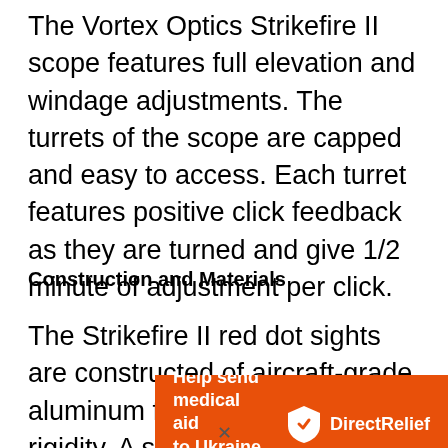The Vortex Optics Strikefire II scope features full elevation and windage adjustments. The turrets of the scope are capped and easy to access. Each turret features positive click feedback as they are turned and give 1/2 minute of adjustment per click.
Construction and Materials
The Strikefire II red dot sights are constructed of aircraft-grade aluminum for strength and rigidity. A single-piece chassis resist even the
[Figure (infographic): Orange advertisement banner for Direct Relief: 'Help send medical aid to Ukraine >>' with Direct Relief logo (shield icon and text) on right side]